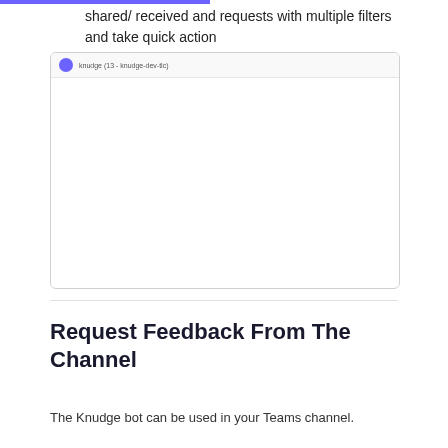shared/ received and requests with multiple filters and take quick action
[Figure (screenshot): A screenshot of a Knudge or Teams bot interface showing a dashboard or list view with a header row and content area.]
Request Feedback From The Channel
The Knudge bot can be used in your Teams channel.